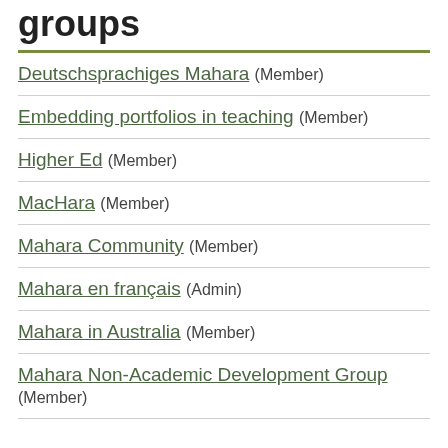groups
Deutschsprachiges Mahara (Member)
Embedding portfolios in teaching (Member)
Higher Ed (Member)
MacHara (Member)
Mahara Community (Member)
Mahara en français (Admin)
Mahara in Australia (Member)
Mahara Non-Academic Development Group (Member)